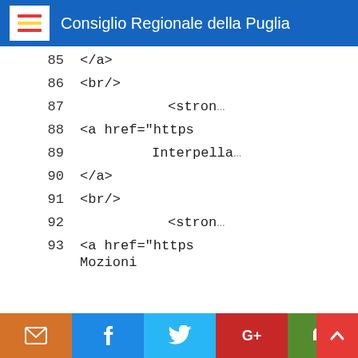Consiglio Regionale della Puglia
85    </a>
86    <br/>
87    <strong
88    <a href="https
89    Interpella
90    </a>
91    <br/>
92    <strong
93    <a href="https
94    Mozioni